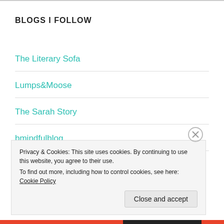BLOGS I FOLLOW
The Literary Sofa
Lumps&Moose
The Sarah Story
bmindfulblog
Privacy & Cookies: This site uses cookies. By continuing to use this website, you agree to their use.
To find out more, including how to control cookies, see here: Cookie Policy
Close and accept